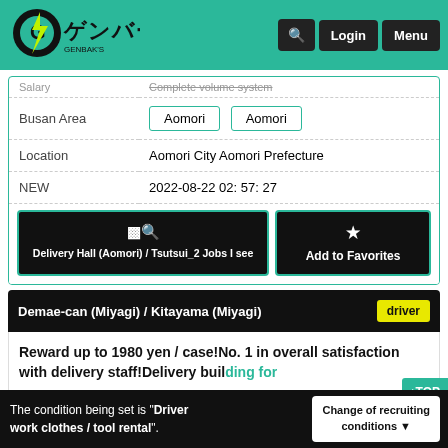ゲンバーズ logo, Login, Menu, Search
| Field | Value |
| --- | --- |
| Salary | Complete volume system |
| Busan Area | Aomori | Aomori |
| Location | Aomori City Aomori Prefecture |
| NEW | 2022-08-22 02: 57: 27 |
Delivery Hall (Aomori) / Tsutsui_2 Jobs I see | Add to Favorites
Demae-can (Miyagi) / Kitayama (Miyagi) — driver
Reward up to 1980 yen / case!No. 1 in overall satisfaction with delivery staff!Delivery building for
The condition being set is "Driver work clothes / tool rental". | Change of recruiting conditions ▼